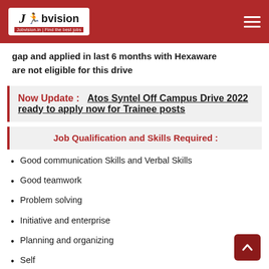Jobvision | Find the best jobs
gap and applied in last 6 months with Hexaware are not eligible for this drive
Now Update :  Atos Syntel Off Campus Drive 2022 ready to apply now for Trainee posts
Job Qualification and Skills Required :
Good communication Skills and Verbal Skills
Good teamwork
Problem solving
Initiative and enterprise
Planning and organizing
Self...